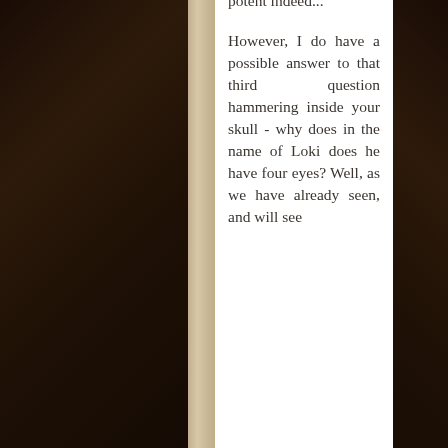[Figure (photo): Background showing bookshelves with old leather-bound books on left and right sides, with a stone/marble column in the center and a white text panel]
potent indeed...

However, I do have a possible answer to that third question hammering inside your skull - why does in the name of Loki does he have four eyes? Well, as we have already seen, and will see